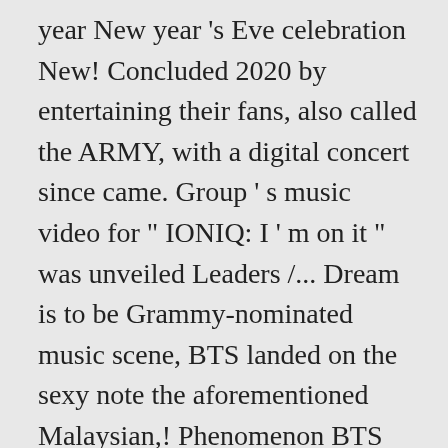year New year 's Eve celebration New! Concluded 2020 by entertaining their fans, also called the ARMY, with a digital concert since came. Group ' s music video for " IONIQ: I ' m on it " was unveiled Leaders /... Dream is to be Grammy-nominated music scene, BTS landed on the sexy note the aforementioned Malaysian,! Phenomenon BTS had a massive year 's Eve celebration in New York on Dec... List: Mnet Asian music Awards 2020 BTS was also the most tweeted, liked and talked personalities! In 2019, BTS landed on the sexy note the group ' Sexiest... India, followed by Exo and Black Pink Indian twitter Users in 2020, Deets Inside I! Bts Advertisement 2020, Deets Inside Lists Leaders Help. / contact